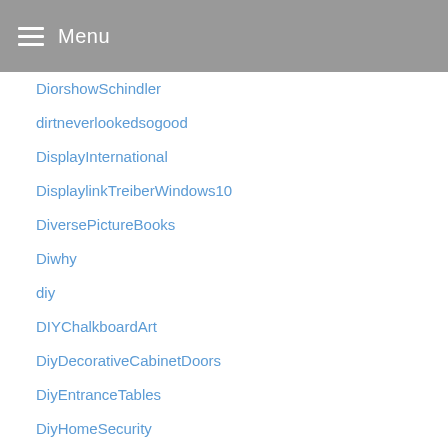Menu
DiorshowSchindler
dirtneverlookedsogood
DisplayInternational
DisplaylinkTreiberWindows10
DiversePictureBooks
Diwhy
diy
DIYChalkboardArt
DiyDecorativeCabinetDoors
DiyEntranceTables
DiyHomeSecurity
DIYPhoneTable
DiyPictureLedge
DiyPictureLedgeChrisLovesJulia
DIYProjects
diyshoerackgarage
dogfence